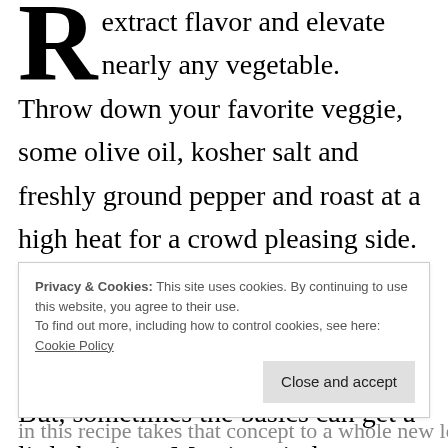R extract flavor and elevate nearly any vegetable. Throw down your favorite veggie, some olive oil, kosher salt and freshly ground pepper and roast at a high heat for a crowd pleasing side. You can never go wrong with basics like asparagus, sweet potato, squash, carrots or brussel sprouts. But, sometimes the basics can get a little boring. My sister in law, Devora, inspired me to think outside of the box and roast different veggies like fennel and artichoke
Privacy & Cookies: This site uses cookies. By continuing to use this website, you agree to their use. To find out more, including how to control cookies, see here: Cookie Policy
in this recipe takes that concept to a whole new level.